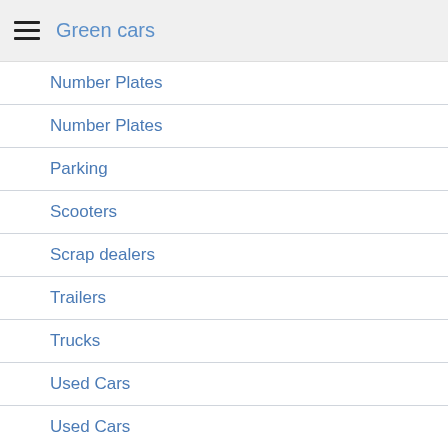Green cars
Number Plates
Number Plates
Parking
Scooters
Scrap dealers
Trailers
Trucks
Used Cars
Used Cars
Valeting
Vans